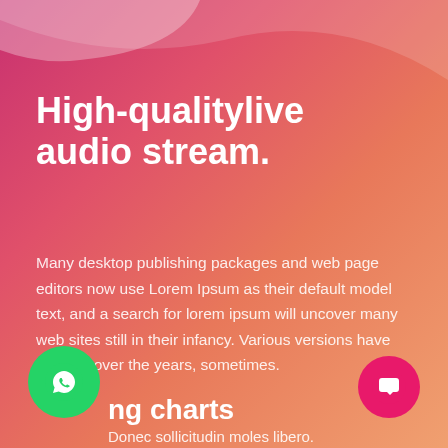High-qualitylive audio stream.
Many desktop publishing packages and web page editors now use Lorem Ipsum as their default model text, and a search for lorem ipsum will uncover many web sites still in their infancy. Various versions have evolved over the years, sometimes.
30+
ng charts
Donec sollicitudin moles libero.
[Figure (illustration): Green WhatsApp icon circle button bottom left]
[Figure (illustration): Pink chat/message icon circle button bottom right]